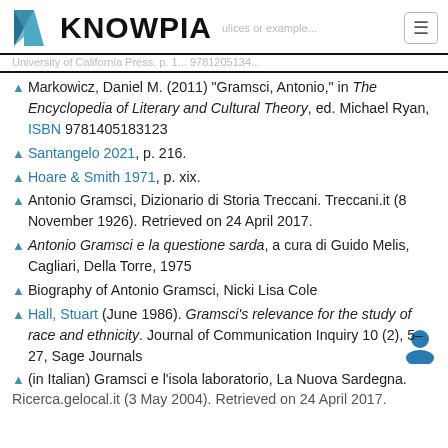KNOWPIA
^ Markowicz, Daniel M. (2011) "Gramsci, Antonio," in The Encyclopedia of Literary and Cultural Theory, ed. Michael Ryan, ISBN 9781405183123
^ Santangelo 2021, p. 216.
^ Hoare & Smith 1971, p. xix.
^ Antonio Gramsci, Dizionario di Storia Treccani. Treccani.it (8 November 1926). Retrieved on 24 April 2017.
^ Antonio Gramsci e la questione sarda, a cura di Guido Melis, Cagliari, Della Torre, 1975
^ Biography of Antonio Gramsci, Nicki Lisa Cole
^ Hall, Stuart (June 1986). Gramsci's relevance for the study of race and ethnicity. Journal of Communication Inquiry 10 (2), 5–27, Sage Journals
^ (in Italian) Gramsci e l'isola laboratorio, La Nuova Sardegna. Ricerca.gelocal.it (3 May 2004). Retrieved on 24 April 2017.